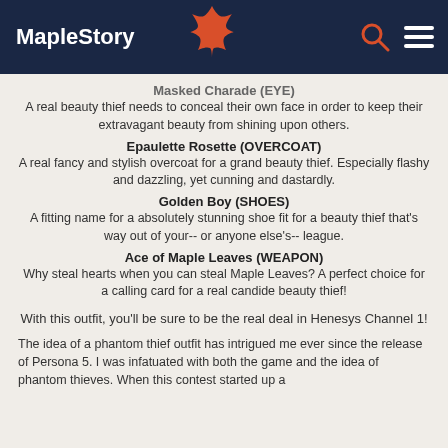MapleStory
Masked Charade (EYE)
A real beauty thief needs to conceal their own face in order to keep their extravagant beauty from shining upon others.
Epaulette Rosette (OVERCOAT)
A real fancy and stylish overcoat for a grand beauty thief. Especially flashy and dazzling, yet cunning and dastardly.
Golden Boy (SHOES)
A fitting name for a absolutely stunning shoe fit for a beauty thief that's way out of your-- or anyone else's-- league.
Ace of Maple Leaves (WEAPON)
Why steal hearts when you can steal Maple Leaves? A perfect choice for a calling card for a real candide beauty thief!
With this outfit, you'll be sure to be the real deal in Henesys Channel 1!
The idea of a phantom thief outfit has intrigued me ever since the release of Persona 5. I was infatuated with both the game and the idea of phantom thieves. When this contest started up a